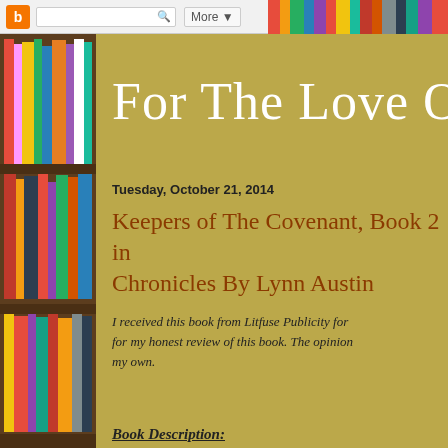For The Love Of B
Tuesday, October 21, 2014
Keepers of The Covenant, Book 2 in Chronicles By Lynn Austin
I received this book from Litfuse Publicity for my honest review of this book. The opinion my own.
Book Description: